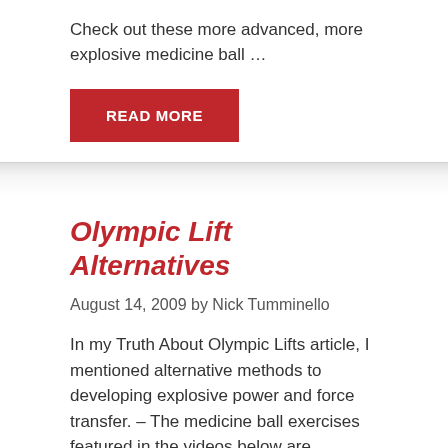Check out these more advanced, more explosive medicine ball …
READ MORE
Olympic Lift Alternatives
August 14, 2009 by Nick Tumminello
In my Truth About Olympic Lifts article, I mentioned alternative methods to developing explosive power and force transfer. – The medicine ball exercises featured in the videos below are fantastic methods of developing